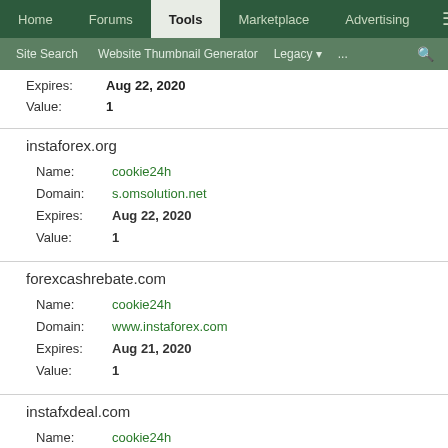Home | Forums | Tools | Marketplace | Advertising
Site Search | Website Thumbnail Generator | Legacy | ...
Expires: Aug 22, 2020
Value: 1
instaforex.org
Name: cookie24h
Domain: s.omsolution.net
Expires: Aug 22, 2020
Value: 1
forexcashrebate.com
Name: cookie24h
Domain: www.instaforex.com
Expires: Aug 21, 2020
Value: 1
instafxdeal.com
Name: cookie24h
Domain: s.omsolution.net
Expires: Aug 20, 2020
Value: 1
slovakia-forex.com